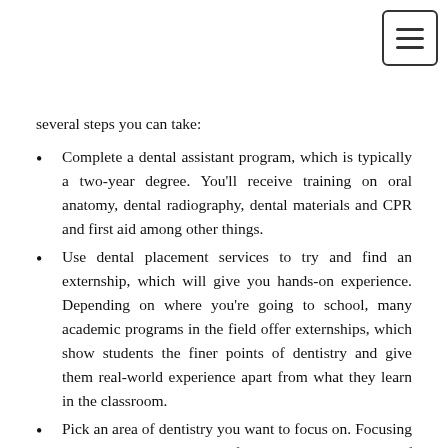several steps you can take:
Complete a dental assistant program, which is typically a two-year degree. You'll receive training on oral anatomy, dental radiography, dental materials and CPR and first aid among other things.
Use dental placement services to try and find an externship, which will give you hands-on experience. Depending on where you're going to school, many academic programs in the field offer externships, which show students the finer points of dentistry and give them real-world experience apart from what they learn in the classroom.
Pick an area of dentistry you want to focus on. Focusing on general dental care is fine, but there are a lot of things you can specialize in